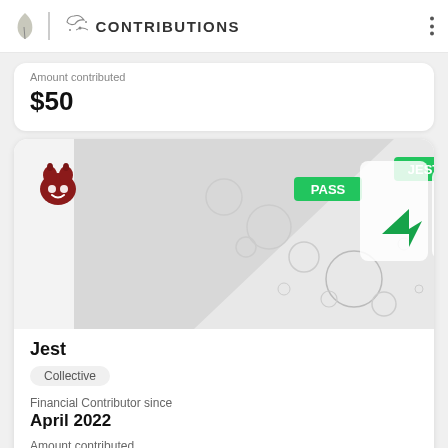CONTRIBUTIONS
Amount contributed
$50
[Figure (screenshot): Jest collective banner with circular bubble decorations, PASS and JEST green labels, and Jest logo icons on a light grey triangular background]
Jest
Collective
Financial Contributor since
April 2022
Amount contributed
$50